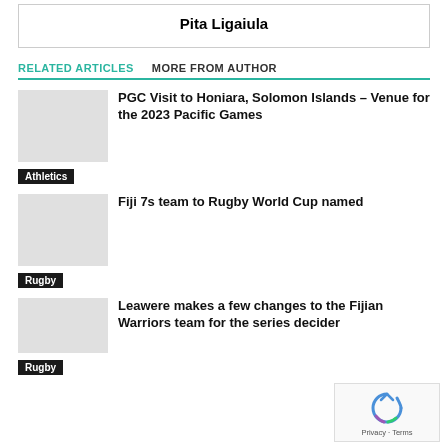Pita Ligaiula
RELATED ARTICLES
MORE FROM AUTHOR
PGC Visit to Honiara, Solomon Islands – Venue for the 2023 Pacific Games
Athletics
Fiji 7s team to Rugby World Cup named
Rugby
Leawere makes a few changes to the Fijian Warriors team for the series decider
Rugby